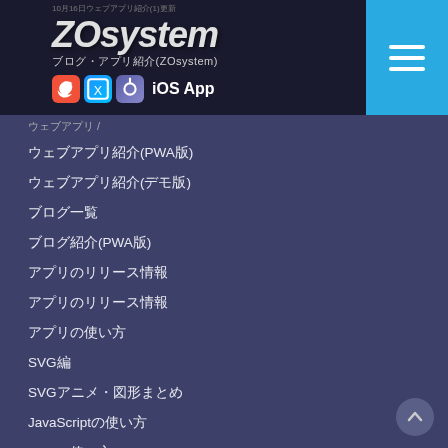ZOsystem iOS App
ウェブアプリ
ウェブアプリ紹介(PWA版)
ウェブアプリ紹介(デモ版)
ブログ一覧
ブログ紹介(PWA版)
アプリのリリース情報
アプリのリリース情報
アプリの使い方
SVG編
SVGアニメ・図形まとめ
JavaScriptの使い方
CSSの使い方
HTMLの使い方
初心者向けJavaScript編
お問い合わせ